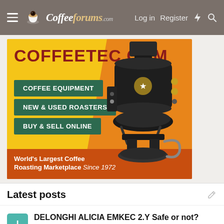CoffeeForums.com — Log in   Register
[Figure (advertisement): CoffeeTec.com banner ad with coffee roasting machine. Shows 'COFFEETEC.COM' in dark red, three green buttons: 'COFFEE EQUIPMENT', 'NEW & USED ROASTERS', 'BUY & SELL ONLINE'. Footer text: World's Largest Coffee Roasting Marketplace Since 1972. Background is yellow-orange gradient with a black coffee roaster machine on the right.]
Latest posts
DELONGHI ALICIA EMKEC 2.Y Safe or not?
Latest: I.Fix.Jura · Today at 1:19 PM
Coffee and Espresso Machines